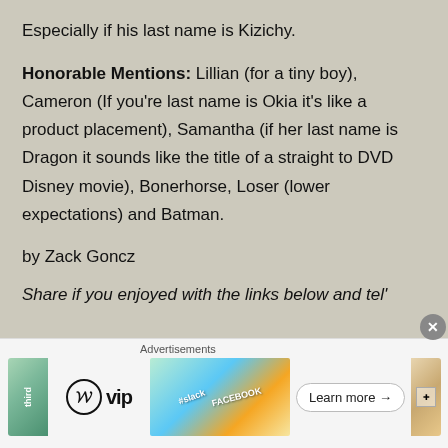Especially if his last name is Kizichy.
Honorable Mentions: Lillian (for a tiny boy), Cameron (If you're last name is Okia it's like a product placement), Samantha (if her last name is Dragon it sounds like the title of a straight to DVD Disney movie), Bonerhorse, Loser (lower expectations) and Batman.
by Zack Goncz
Share if you enjoyed with the links below and tel'
[Figure (infographic): Advertisement banner with WordPress VIP logo, colorful social media cards (slack, Facebook), and a Learn more button with close button]